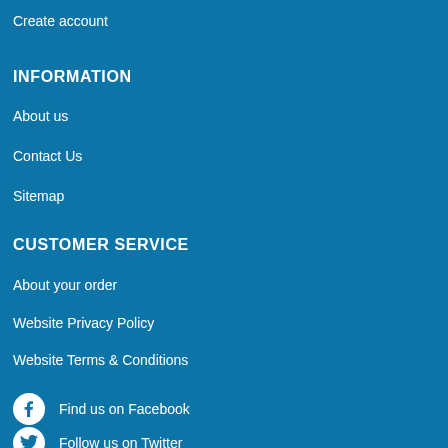Create account
INFORMATION
About us
Contact Us
Sitemap
CUSTOMER SERVICE
About your order
Website Privacy Policy
Website Terms & Conditions
Find us on Facebook
Follow us on Twitter